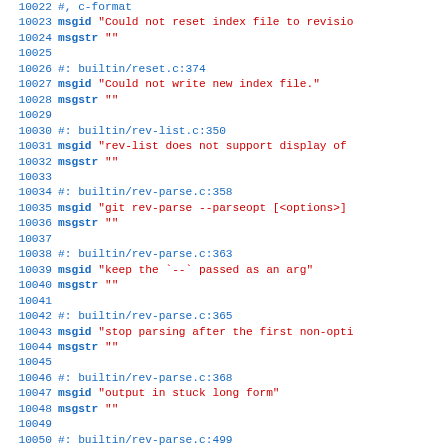Code listing lines 10022-10051, gettext PO file for git
10022  #, c-format
10023  msgid "Could not reset index file to revisio
10024  msgstr ""
10025
10026  #: builtin/reset.c:374
10027  msgid "Could not write new index file."
10028  msgstr ""
10029
10030  #: builtin/rev-list.c:350
10031  msgid "rev-list does not support display of
10032  msgstr ""
10033
10034  #: builtin/rev-parse.c:358
10035  msgid "git rev-parse --parseopt [<options>]
10036  msgstr ""
10037
10038  #: builtin/rev-parse.c:363
10039  msgid "keep the `--` passed as an arg"
10040  msgstr ""
10041
10042  #: builtin/rev-parse.c:365
10043  msgid "stop parsing after the first non-opti
10044  msgstr ""
10045
10046  #: builtin/rev-parse.c:368
10047  msgid "output in stuck long form"
10048  msgstr ""
10049
10050  #: builtin/rev-parse.c:499
10051  msgid ""